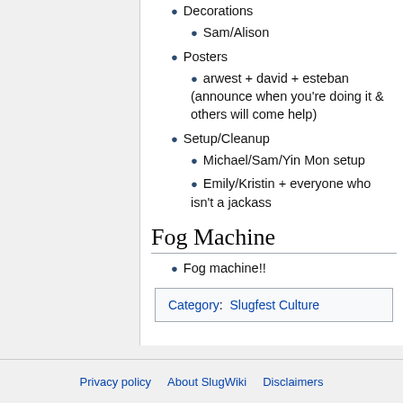Decorations
Sam/Alison
Posters
arwest + david + esteban (announce when you're doing it & others will come help)
Setup/Cleanup
Michael/Sam/Yin Mon setup
Emily/Kristin + everyone who isn't a jackass
Fog Machine
Fog machine!!
Category:  Slugfest Culture
Privacy policy   About SlugWiki   Disclaimers